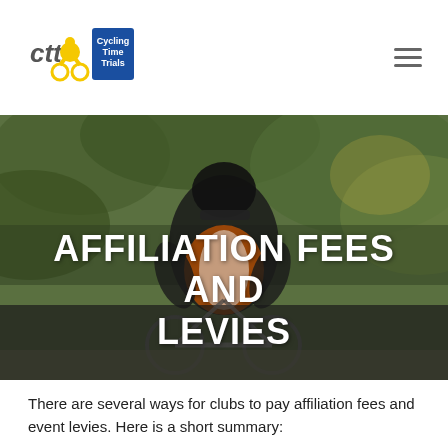CTT Cycling Time Trials logo and navigation
[Figure (photo): Cyclist in aerodynamic position wearing black helmet and colorful jersey, riding in a time trial race with green foliage in background]
AFFILIATION FEES AND LEVIES
There are several ways for clubs to pay affiliation fees and event levies. Here is a short summary: